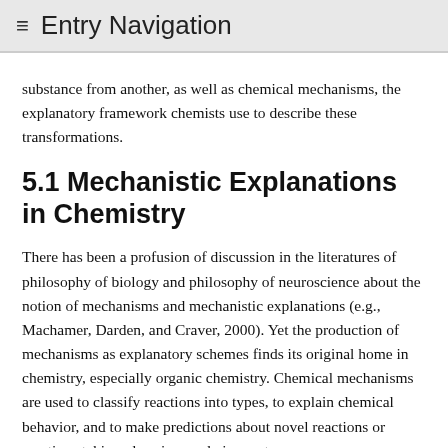≡ Entry Navigation
substance from another, as well as chemical mechanisms, the explanatory framework chemists use to describe these transformations.
5.1 Mechanistic Explanations in Chemistry
There has been a profusion of discussion in the literatures of philosophy of biology and philosophy of neuroscience about the notion of mechanisms and mechanistic explanations (e.g., Machamer, Darden, and Craver, 2000). Yet the production of mechanisms as explanatory schemes finds its original home in chemistry, especially organic chemistry. Chemical mechanisms are used to classify reactions into types, to explain chemical behavior, and to make predictions about novel reactions or reactions taking place in novel circumstances.
Goodwin (forthcoming) identifies two notions of chemical mechanism at play in chemistry. The first or